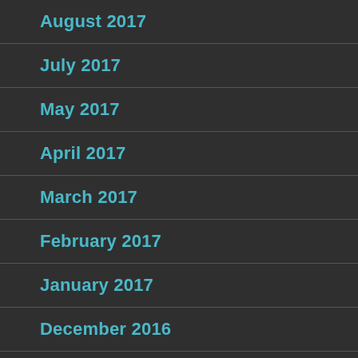August 2017
July 2017
May 2017
April 2017
March 2017
February 2017
January 2017
December 2016
November 2016